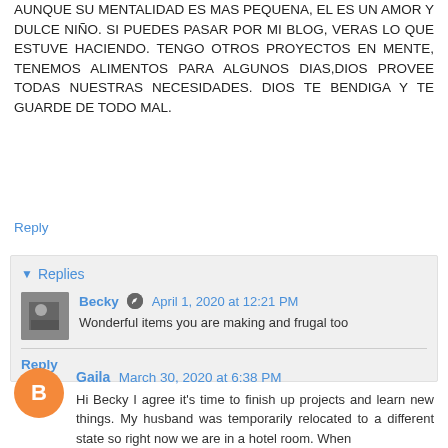AUNQUE SU MENTALIDAD ES MAS PEQUENA, EL ES UN AMOR Y DULCE NIÑO. SI PUEDES PASAR POR MI BLOG, VERAS LO QUE ESTUVE HACIENDO. TENGO OTROS PROYECTOS EN MENTE, TENEMOS ALIMENTOS PARA ALGUNOS DIAS,DIOS PROVEE TODAS NUESTRAS NECESIDADES. DIOS TE BENDIGA Y TE GUARDE DE TODO MAL.
Reply
Replies
Becky April 1, 2020 at 12:21 PM
Wonderful items you are making and frugal too
Reply
Gaila March 30, 2020 at 6:38 PM
Hi Becky I agree it's time to finish up projects and learn new things. My husband was temporarily relocated to a different state so right now we are in a hotel room. When